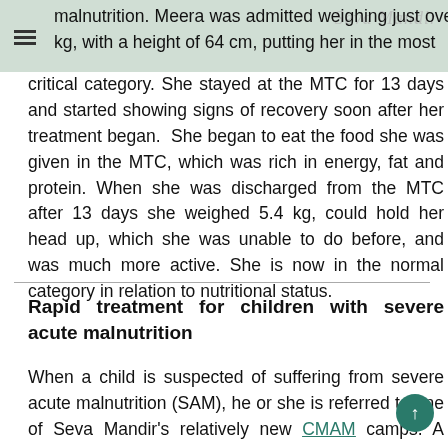Seva Mandir
malnutrition. Meera was admitted weighing just over 5 kg, with a height of 64 cm, putting her in the most critical category. She stayed at the MTC for 13 days and started showing signs of recovery soon after her treatment began. She began to eat the food she was given in the MTC, which was rich in energy, fat and protein. When she was discharged from the MTC after 13 days she weighed 5.4 kg, could hold her head up, which she was unable to do before, and was much more active. She is now in the normal category in relation to nutritional status.
Rapid treatment for children with severe acute malnutrition
When a child is suspected of suffering from severe acute malnutrition (SAM), he or she is referred to one of Seva Mandir's relatively new CMAM camps. A vehicle is sent to bring mother and child to the camp, to ensure their presence and also to avoid a